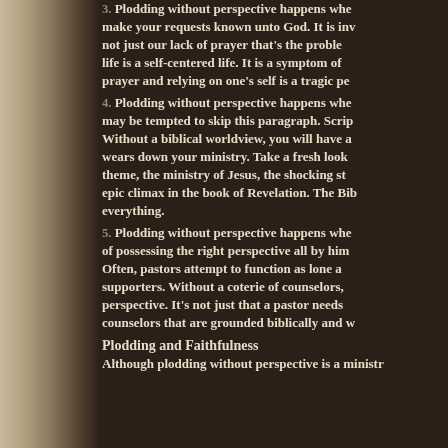3. Plodding without perspective happens when you fail to make your requests known unto God. It is invariably not just our lack of prayer that's the problem. A prayerless life is a self-centered life. It is a symptom of a deeper illness. Avoiding prayer and relying on one's self is a tragic perspective.
4. Plodding without perspective happens when... you may be tempted to skip this paragraph. Scripture is key. Without a biblical worldview, you will have a confusion that wears down your ministry. Take a fresh look at the creation theme, the ministry of Jesus, the shocking story of sin and its epic climax in the book of Revelation. The Bible speaks to everything.
5. Plodding without perspective happens when... of possessing the right perspective all by himself. Often, pastors attempt to function as lone agents without supporters. Without a coterie of counselors, he will lose perspective. It's not just that a pastor needs counselors that are grounded biblically and wi...
Plodding and Faithfulness
Although plodding without perspective is a ministr...